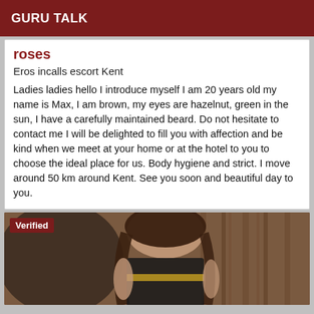GURU TALK
roses
Eros incalls escort Kent
Ladies ladies hello I introduce myself I am 20 years old my name is Max, I am brown, my eyes are hazelnut, green in the sun, I have a carefully maintained beard. Do not hesitate to contact me I will be delighted to fill you with affection and be kind when we meet at your home or at the hotel to you to choose the ideal place for us. Body hygiene and strict. I move around 50 km around Kent. See you soon and beautiful day to you.
[Figure (photo): Photo of a woman with long dark hair, wearing a black outfit, standing against a wooden background. Has a 'Verified' badge in top left corner.]